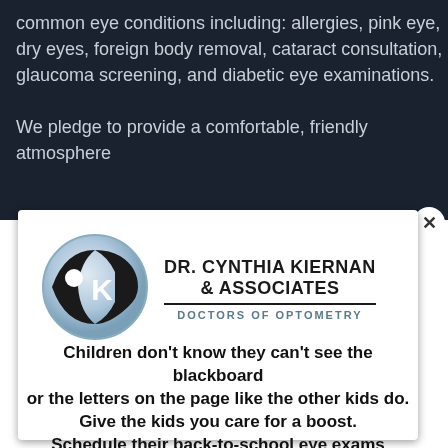common eye conditions including: allergies, pink eye, dry eyes, foreign body removal, cataract consultation, glaucoma screening, and diabetic eye examinations.
We pledge to provide a comfortable, friendly atmosphere
[Figure (logo): Dr. Cynthia Kiernan & Associates Doctors of Optometry logo with stylized eye graphic containing OK letters]
Children don't know they can't see the blackboard or the letters on the page like the other kids do. Give the kids you care for a boost. Schedule their back-to-school eye exams today!